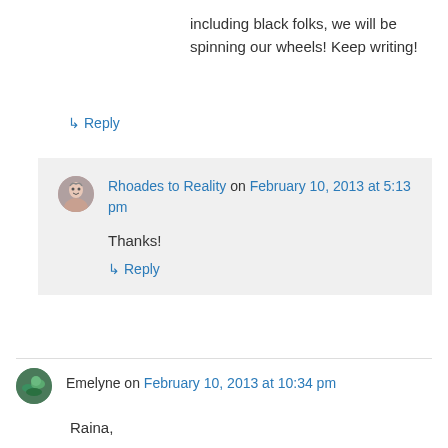including black folks, we will be spinning our wheels! Keep writing!
↳ Reply
Rhoades to Reality on February 10, 2013 at 5:13 pm
Thanks!
↳ Reply
Emelyne on February 10, 2013 at 10:34 pm
Raina,
This is, in my opinion, by far the very best piece